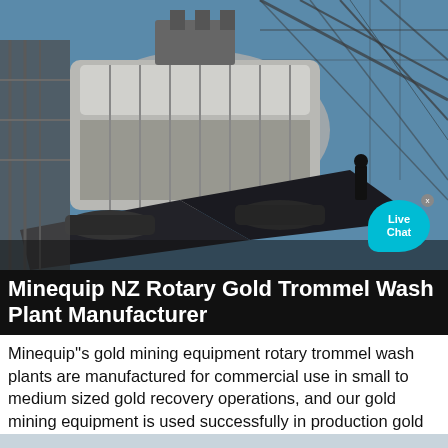[Figure (photo): Industrial mining equipment — a rotary trommel wash plant — large cylindrical metal machinery on tracks under an open steel-frame structure against a blue sky.]
Minequip NZ Rotary Gold Trommel Wash Plant Manufacturer
Minequip''s gold mining equipment rotary trommel wash plants are manufactured for commercial use in small to medium sized gold recovery operations, and our gold mining equipment is used successfully in production gold mines in New Zealand, Mongolia, Papua New Guinea, Bolivia, Ghana and Cameroon.